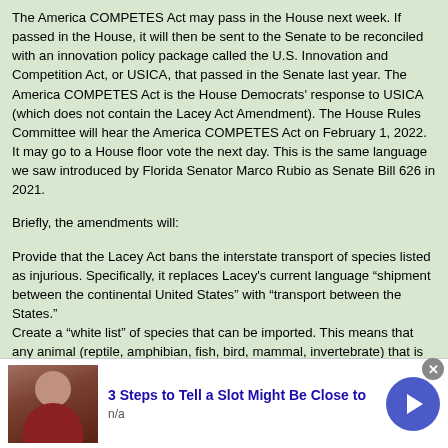The America COMPETES Act may pass in the House next week. If passed in the House, it will then be sent to the Senate to be reconciled with an innovation policy package called the U.S. Innovation and Competition Act, or USICA, that passed in the Senate last year. The America COMPETES Act is the House Democrats' response to USICA (which does not contain the Lacey Act Amendment). The House Rules Committee will hear the America COMPETES Act on February 1, 2022. It may go to a House floor vote the next day. This is the same language we saw introduced by Florida Senator Marco Rubio as Senate Bill 626 in 2021.
Briefly, the amendments will:
Provide that the Lacey Act bans the interstate transport of species listed as injurious. Specifically, it replaces Lacey's current language “shipment between the continental United States” with “transport between the States.”
Create a “white list” of species that can be imported. This means that any animal (reptile, amphibian, fish, bird, mammal, invertebrate) that is not on the white list is by default treated as an injurious species and is banned from importation.
[Figure (photo): Advertisement banner showing a man's photo on the left with text '3 Steps to Tell a Slot Might Be Close to' and 'n/a' below, with a blue circular arrow button on the right and a close (x) button.]